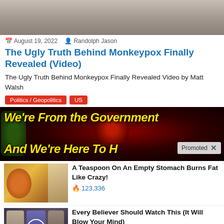[Figure (photo): Cropped photo of a person in a light gray shirt, upper body visible]
August 19, 2022   Randolph Jason
The Ugly Truth Behind Monkeypox Finally Revealed (Video)
The Ugly Truth Behind Monkeypox Finally Revealed Video by Matt Walsh
Politics / Geopolitics
US
[Figure (photo): Promotional banner image with dark red background and yellow bold italic text reading: We're From the Government And We're Here To H... with a Promoted label overlay]
[Figure (photo): Thumbnail image of spices/cigarette for ad: A Teaspoon On An Empty Stomach Burns Fat Like Crazy!]
A Teaspoon On An Empty Stomach Burns Fat Like Crazy!
123,336
[Figure (photo): Thumbnail image of politicians for ad: Every Believer Should Watch This (It Will Blow Your Mind)]
Every Believer Should Watch This (It Will Blow Your Mind)
356,140